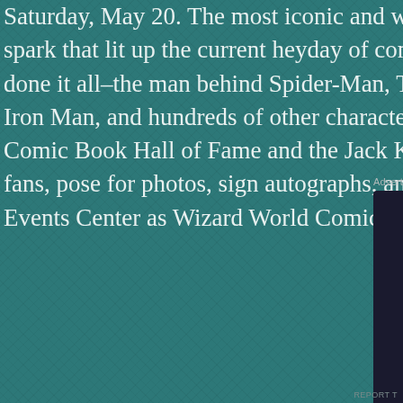Saturday, May 20. The most iconic and well-known of all comic... spark that lit up the current heyday of comic books and comic... done it all–the man behind Spider-Man, The Incredible Hulk, X... Iron Man, and hundreds of other characters, he is a member o... Comic Book Hall of Fame and the Jack Kirby Hall of Fame. This... fans, pose for photos, sign autographs, and conduct an interac... Events Center as Wizard World Comic Con celebrates its third ...
Advertisements
[Figure (other): Advertisement banner: 'Turn your blog into a money-making online course.' with a 'Learn More' button and Sensei logo, dark background with teal text.]